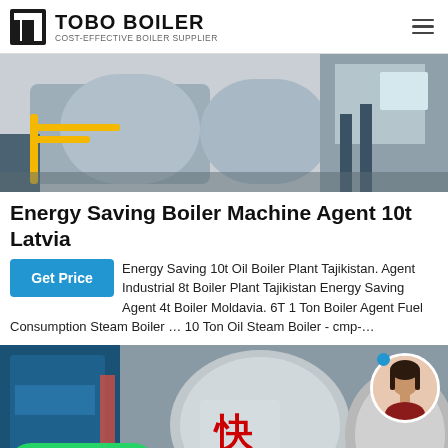TOBO BOILER — COST-EFFECTIVE BOILER SUPPLIER
[Figure (photo): Industrial boiler equipment installed in a facility, showing large cylindrical boiler tanks, yellow piping, and blue structural framework.]
Energy Saving Boiler Machine Agent 10t Latvia
Energy Saving 10t Oil Boiler Plant Tajikistan. Agent Industrial 8t Boiler Plant Tajikistan Energy Saving Agent 4t Boiler Moldavia. 6T 1 Ton Boiler Agent Fuel Consumption Steam Boiler … 10 Ton Oil Steam Boiler - cmp-…
[Figure (photo): Industrial boiler equipment in a factory setting with blue machinery, Chinese characters, and boiler components. Overlaid with a WhatsApp contact badge (green, bottom left) and a chat avatar (top right).]